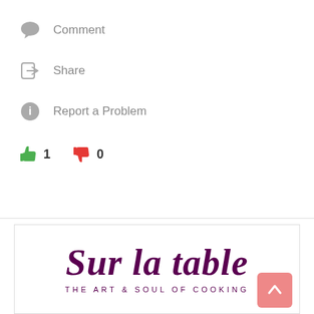Comment
Share
Report a Problem
👍 1   👎 0
[Figure (logo): Sur La Table logo with script text and tagline 'THE ART & SOUL OF COOKING']